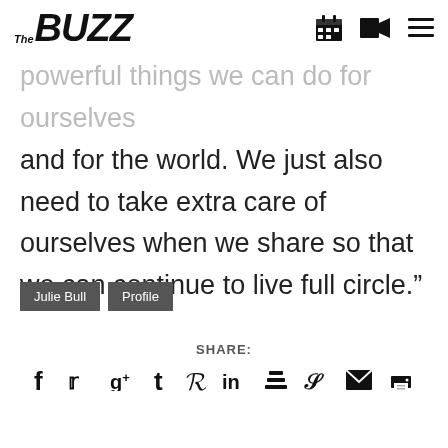The BUZZ
powerful things we can do for ourselves and for the world. We just also need to take extra care of ourselves when we share so that we can continue to live full circle.”
Julie Bull
Profile
SHARE:
[Figure (infographic): Social share icons row: Facebook, Twitter, Google+, Tumblr, Pinterest, LinkedIn, Buffer, StumbleUpon, Email, Print]